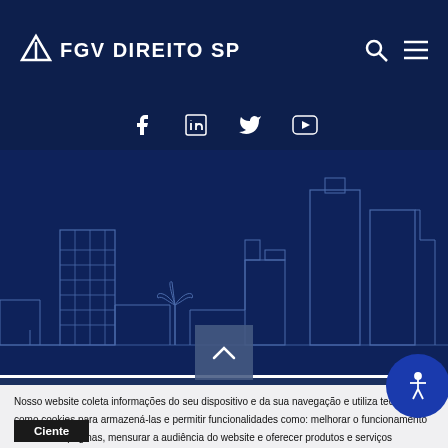FGV DIREITO SP
[Figure (illustration): Social media icons: Facebook, LinkedIn, Twitter, YouTube on dark navy background]
[Figure (illustration): São Paulo city skyline outline illustration in white lines on dark navy background]
Nosso website coleta informações do seu dispositivo e da sua navegação e utiliza tecnologias como cookies para armazená-las e permitir funcionalidades como: melhorar o funcionamento técnico das páginas, mensurar a audiência do website e oferecer produtos e serviços relevantes por meio de anúncios personalizados. Para mais informações, acesse o nosso Aviso de Cookies e o nosso Aviso de Privacidade.
Ciente